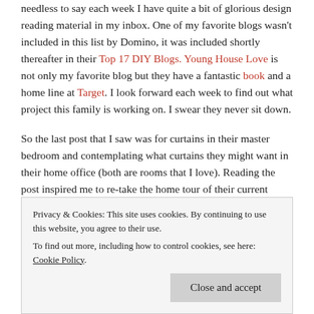needless to say each week I have quite a bit of glorious design reading material in my inbox. One of my favorite blogs wasn't included in this list by Domino, it was included shortly thereafter in their Top 17 DIY Blogs. Young House Love is not only my favorite blog but they have a fantastic book and a home line at Target. I look forward each week to find out what project this family is working on. I swear they never sit down.
So the last post that I saw was for curtains in their master bedroom and contemplating what curtains they might want in their home office (both are rooms that I love). Reading the post inspired me to re-take the home tour of their current house and refresh my design hungry mind of all the
Privacy & Cookies: This site uses cookies. By continuing to use this website, you agree to their use.
To find out more, including how to control cookies, see here: Cookie Policy